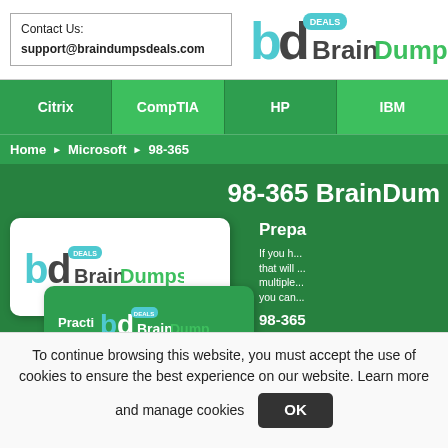Contact Us: support@braindumpsdeals.com
[Figure (logo): BrainDumps Deals logo with 'bd' letters and 'BrainDumps' text with 'DEALS' badge]
Citrix
CompTIA
HP
IBM
Home ▶ Microsoft ▶ 98-365
98-365 BrainDum
Prepa
If you h... that will ... multiple ... you can...
98-365
[Figure (screenshot): BrainDumps Deals product cards showing logo and 'Practi' label with stacked cards on green background]
To continue browsing this website, you must accept the use of cookies to ensure the best experience on our website. Learn more and manage cookies
OK